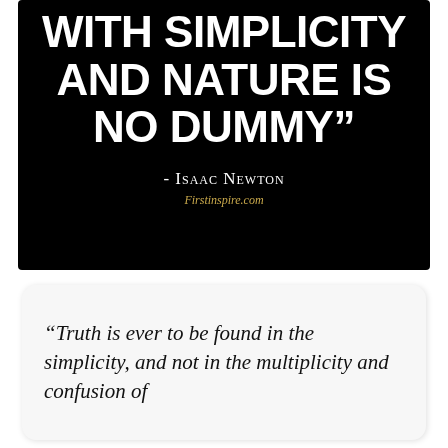[Figure (infographic): Black background quote card with bold white uppercase text reading '...WITH SIMPLICITY AND NATURE IS NO DUMMY"' attributed to Isaac Newton, with Firstinspire.com watermark]
“Truth is ever to be found in the simplicity, and not in the multiplicity and confusion of